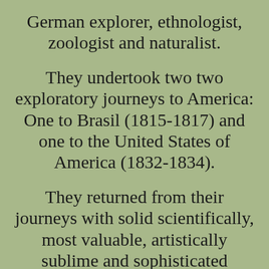German explorer, ethnologist, zoologist and naturalist.
They undertook two two exploratory journeys to America: One to Brasil (1815-1817) and one to the United States of America (1832-1834).
They returned from their journeys with solid scientifically, most valuable, artistically sublime and sophisticated